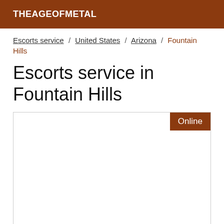THEAGEOFMETAL
Escorts service / United States / Arizona / Fountain Hills
Escorts service in Fountain Hills
[Figure (other): Listing card with Online badge, white content area]